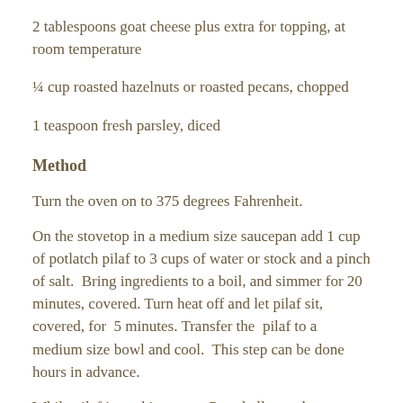2 tablespoons goat cheese plus extra for topping, at room temperature
¼ cup roasted hazelnuts or roasted pecans, chopped
1 teaspoon fresh parsley, diced
Method
Turn the oven on to 375 degrees Fahrenheit.
On the stovetop in a medium size saucepan add 1 cup of potlatch pilaf to 3 cups of water or stock and a pinch of salt.  Bring ingredients to a boil, and simmer for 20 minutes, covered. Turn heat off and let pilaf sit, covered, for  5 minutes. Transfer the  pilaf to a medium size bowl and cool.  This step can be done hours in advance.
While pilaf is cooking, stem Portobello mushroom, and scrape inner gills being careful not to rip the sides of the